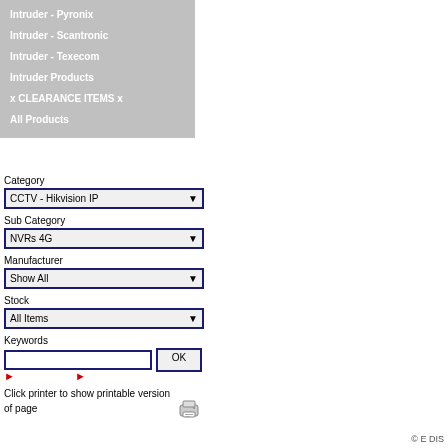Intruder - Pyronix
Intruder - Scantronic
Intruder - Texecom
Intruder Products
x CLEARANCE ITEMS x
All Products
Category
CCTV - Hikvision IP
Sub Category
NVRs 4G
Manufacturer
Show All
Stock
All Items
Keywords
Click printer to show printable version of page
© E DIS